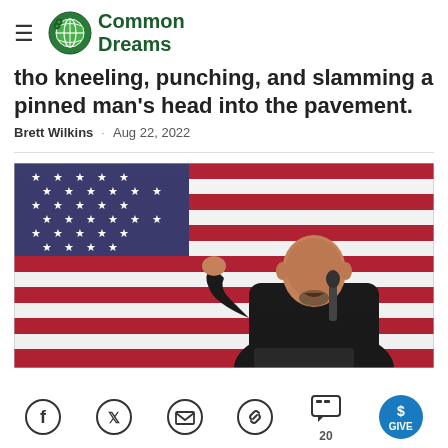Common Dreams
tho kneeling, punching, and slamming a pinned man's head into the pavement.
Brett Wilkins · Aug 22, 2022
[Figure (photo): A bald man in a black hoodie speaks into a microphone in front of a large American flag backdrop.]
Social sharing icons: Facebook, Twitter, Email, Link, Comments (20), Give